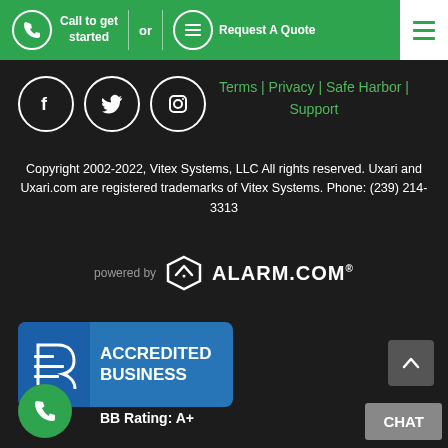Call to get started  or  Request A Quote
[Figure (screenshot): Footer section of Uxari/Vitex Systems website with social media icons (Facebook, Twitter, Instagram), navigation links (Terms | Privacy | Safe Harbor | Support), copyright notice, Alarm.com powered logo, BBB Accredited Business badge with A+ rating, scroll-to-top button, phone FAB button, and CHAT button]
Terms | Privacy | Safe Harbor | Support
Copyright 2002-2022, Vitex Systems, LLC All rights reserved. Uxari and Uxari.com are registered trademarks of Vitex Systems. Phone: (239) 214-3313
powered by ALARM.COM®
ACCREDITED BUSINESS BBB Rating: A+
CHAT